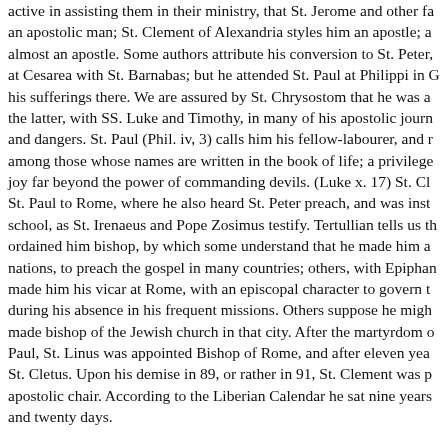active in assisting them in their ministry, that St. Jerome and other fa an apostolic man; St. Clement of Alexandria styles him an apostle; a almost an apostle. Some authors attribute his conversion to St. Peter, at Cesarea with St. Barnabas; but he attended St. Paul at Philippi in G his sufferings there. We are assured by St. Chrysostom that he was a the latter, with SS. Luke and Timothy, in many of his apostolic journ and dangers. St. Paul (Phil. iv, 3) calls him his fellow-labourer, and r among those whose names are written in the book of life; a privilege joy far beyond the power of commanding devils. (Luke x. 17) St. Cl St. Paul to Rome, where he also heard St. Peter preach, and was inst school, as St. Irenaeus and Pope Zosimus testify. Tertullian tells us th ordained him bishop, by which some understand that he made him a nations, to preach the gospel in many countries; others, with Epiphan made him his vicar at Rome, with an episcopal character to govern t during his absence in his frequent missions. Others suppose he migh made bishop of the Jewish church in that city. After the martyrdom o Paul, St. Linus was appointed Bishop of Rome, and after eleven yea St. Cletus. Upon his demise in 89, or rather in 91, St. Clement was p apostolic chair. According to the Liberian Calendar he sat nine years and twenty days.
At Corinth, an impious and detestable division, as our saint called it, amongst the faithful, like that which St. Paul had appeased in the sar party rebelled against holy and irreproachable priests and presumed It seems to have been soon after the death of Domitian in 96, that S